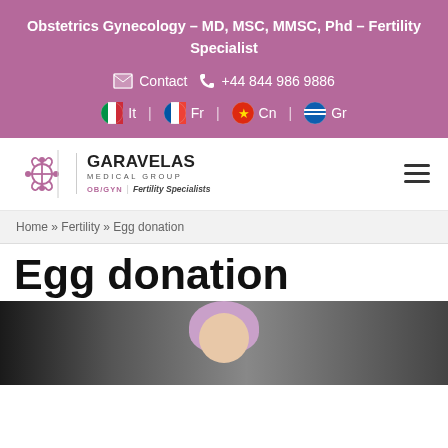Obstetrics Gynecology – MD, MSC, MMSC, Phd – Fertility Specialist
Contact  +44 844 986 9886
It | Fr | Cn | Gr
[Figure (logo): Garavelas Medical Group OB/GYN Fertility Specialists logo with decorative cross icon]
Home » Fertility » Egg donation
Egg donation
[Figure (photo): Photo of a baby/infant with a purple/pink hood or hat, blurred background]